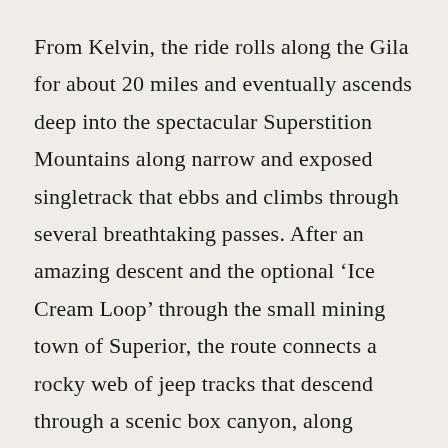From Kelvin, the ride rolls along the Gila for about 20 miles and eventually ascends deep into the spectacular Superstition Mountains along narrow and exposed singletrack that ebbs and climbs through several breathtaking passes. After an amazing descent and the optional ‘Ice Cream Loop’ through the small mining town of Superior, the route connects a rocky web of jeep tracks that descend through a scenic box canyon, along washes, and through Area 52, a rock mesa that can be an adventure in itself. After a long ridge line doubletrack climb, the road eventually reconnects with the AZT to mount the epic ‘Ripsey’ and a